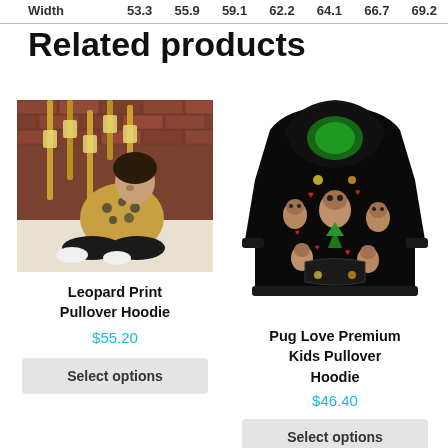| Width | 53.3 | 55.9 | 59.1 | 62.2 | 64.1 | 66.7 | 69.2 |
| --- | --- | --- | --- | --- | --- | --- | --- |
Related products
[Figure (photo): Woman wearing a leopard print pullover hoodie, sitting against a brick wall with industrial pipes]
Leopard Print Pullover Hoodie
$55.20
Select options
[Figure (photo): Black kids pullover hoodie with pug dogs and hearts pattern, displayed flat/front view]
Pug Love Premium Kids Pullover Hoodie
$46.40
Select options